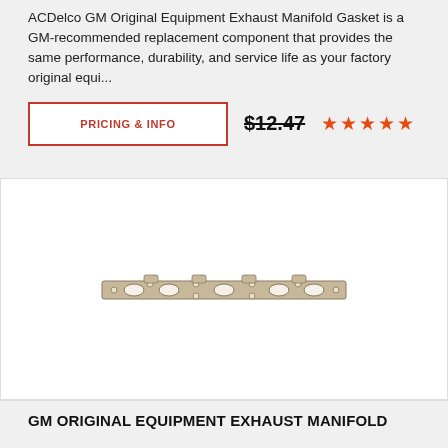ACDelco GM Original Equipment Exhaust Manifold Gasket is a GM-recommended replacement component that provides the same performance, durability, and service life as your factory original equi...
PRICING & INFO
$12.47
[Figure (other): Five orange/red star rating icons]
[Figure (photo): ACDelco exhaust manifold gasket — a flat metallic gasket with oval port holes along its length]
GM ORIGINAL EQUIPMENT EXHAUST MANIFOLD